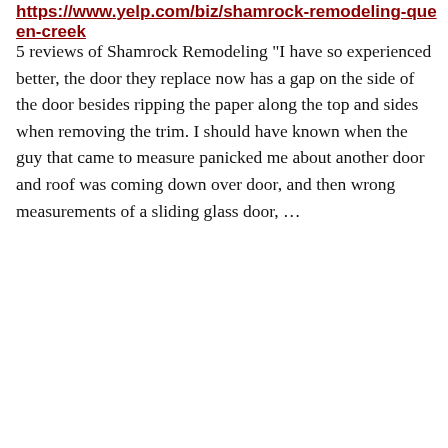https://www.yelp.com/biz/shamrock-remodeling-queen-creek
5 reviews of Shamrock Remodeling "I have so experienced better, the door they replace now has a gap on the side of the door besides ripping the paper along the top and sides when removing the trim. I should have known when the guy that came to measure panicked me about another door and roof was coming down over door, and then wrong measurements of a sliding glass door, …